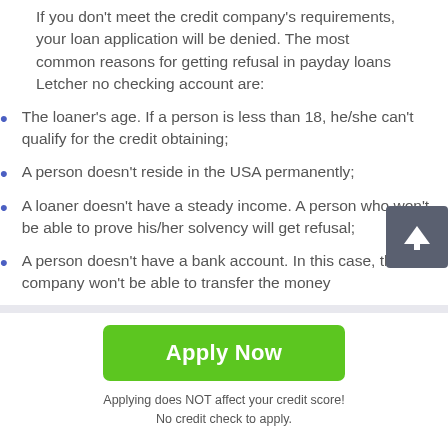If you don't meet the credit company's requirements, your loan application will be denied. The most common reasons for getting refusal in payday loans Letcher no checking account are:
The loaner's age. If a person is less than 18, he/she can't qualify for the credit obtaining;
A person doesn't reside in the USA permanently;
A loaner doesn't have a steady income. A person who won't be able to prove his/her solvency will get refusal;
A person doesn't have a bank account. In this case, the credit company won't be able to transfer the money
[Figure (other): Green 'Apply Now' button with subtext: 'Applying does NOT affect your credit score! No credit check to apply.']